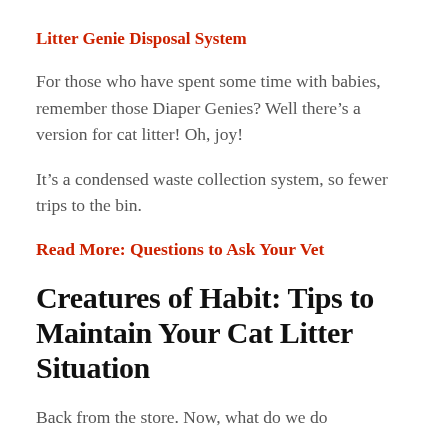Litter Genie Disposal System
For those who have spent some time with babies, remember those Diaper Genies? Well there’s a version for cat litter! Oh, joy!
It’s a condensed waste collection system, so fewer trips to the bin.
Read More: Questions to Ask Your Vet
Creatures of Habit: Tips to Maintain Your Cat Litter Situation
Back from the store. Now, what do we do